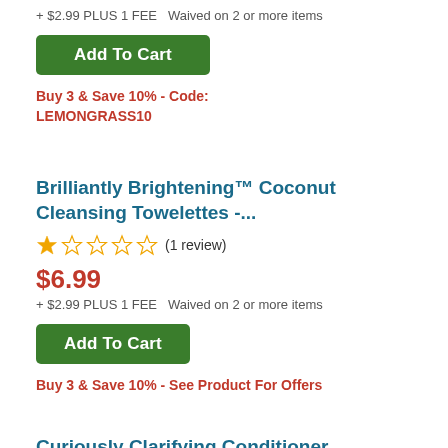+ $2.99 PLUS 1 FEE  Waived on 2 or more items
Add To Cart
Buy 3 & Save 10% - Code: LEMONGRASS10
Brilliantly Brightening™ Coconut Cleansing Towelettes -...
(1 review)
$6.99
+ $2.99 PLUS 1 FEE  Waived on 2 or more items
Add To Cart
Buy 3 & Save 10% - See Product For Offers
Curiously Clarifying Conditioner, Lemongrass + Argan - ...